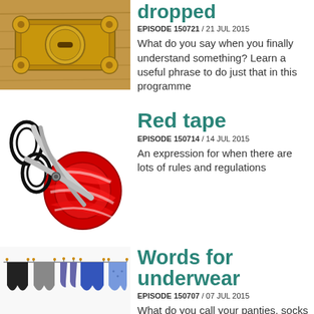[Figure (photo): Close-up photo of a decorative brass/copper coin lock on a wooden surface]
dropped
EPISODE 150721 / 21 JUL 2015
What do you say when you finally understand something? Learn a useful phrase to do just that in this programme
[Figure (photo): Scissors cutting through a bunch of red tape ribbon]
Red tape
EPISODE 150714 / 14 JUL 2015
An expression for when there are lots of rules and regulations
[Figure (photo): Underwear and socks hanging on a clothesline]
Words for underwear
EPISODE 150707 / 07 JUL 2015
What do you call your panties, socks and bra?